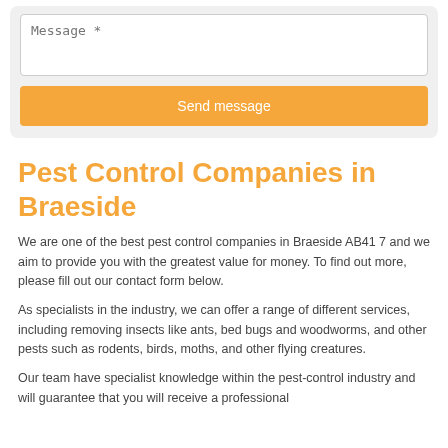[Figure (screenshot): Web form area with a Message textarea and an orange 'Send message' button on a light grey background]
Pest Control Companies in Braeside
We are one of the best pest control companies in Braeside AB41 7 and we aim to provide you with the greatest value for money. To find out more, please fill out our contact form below.
As specialists in the industry, we can offer a range of different services, including removing insects like ants, bed bugs and woodworms, and other pests such as rodents, birds, moths, and other flying creatures.
Our team have specialist knowledge within the pest-control industry and will guarantee that you will receive a professional